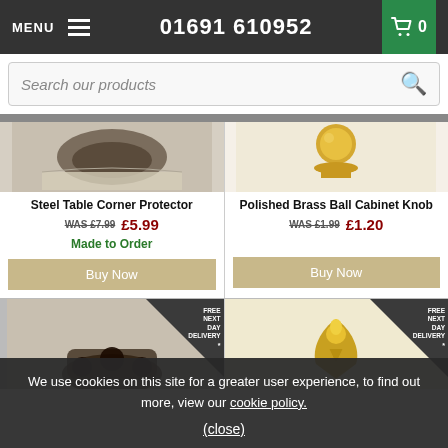MENU  01691 610952  0
Search our products
Steel Table Corner Protector
WAS £7.99  £5.99
Made to Order
Buy Now
Polished Brass Ball Cabinet Knob
WAS £1.99  £1.20
Buy Now
[Figure (screenshot): Lower product cards with FREE NEXT DAY DELIVERY corner badges and product images partially visible]
We use cookies on this site for a greater user experience, to find out more, view our cookie policy.
(close)